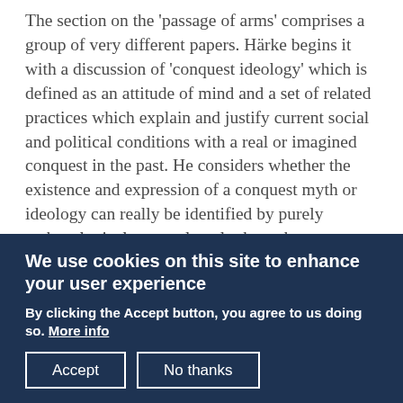The section on the 'passage of arms' comprises a group of very different papers. Härke begins it with a discussion of 'conquest ideology' which is defined as an attitude of mind and a set of related practices which explain and justify current social and political conditions with a real or imagined conquest in the past. He considers whether the existence and expression of a conquest myth or ideology can really be identified by purely archaeological means, largely through examination of historical accounts of Anglo-Saxon England and possible interpretations of the adoption of warrior
We use cookies on this site to enhance your user experience
By clicking the Accept button, you agree to us doing so. More info
[Accept] [No thanks]